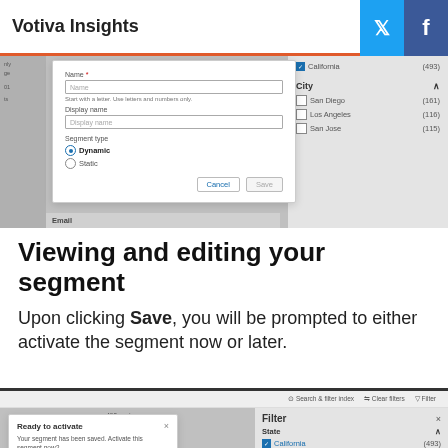Votiva Insights
[Figure (screenshot): UI screenshot showing a segment creation dialog with Name field, Display name field, Segment type options (Dynamic selected, Static), Cancel and Save buttons. Right panel shows California (493) checked under State, and City section with San Diego (161), Los Angeles (116), San Jose (115).]
Viewing and editing your segment
Upon clicking Save, you will be prompted to either activate the segment now or later.
[Figure (screenshot): UI screenshot showing filter results with 493 customers, Save results as segment button, a Ready to activate dialog saying your segment has been saved, and filter panel with State: California (493) checked.]